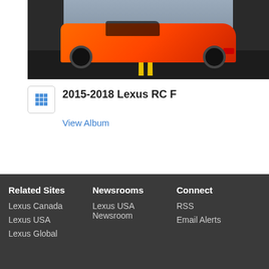[Figure (photo): Orange Lexus RC F sports car rear/side view on a road with yellow double center line, dark background]
2015-2018 Lexus RC F
View Album
Every effort has been made to ensure the product specifications, equipment, and content on this site are accurate based on information
Related Sites: Lexus Canada, Lexus USA, Lexus Global | Newsrooms: Lexus USA Newsroom | Connect: RSS, Email Alerts